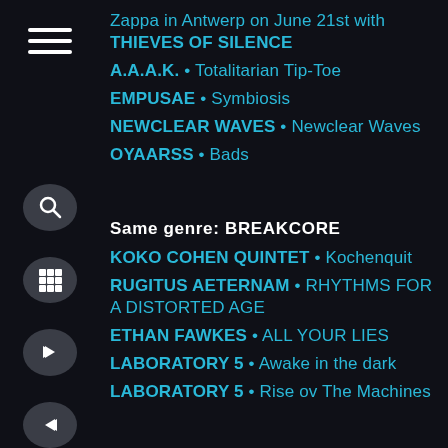Zappa in Antwerp on June 21st with THIEVES OF SILENCE
A.A.A.K. • Totalitarian Tip-Toe
EMPUSAE • Symbiosis
NEWCLEAR WAVES • Newclear Waves
OYAARSS • Bads
Same genre: BREAKCORE
KOKO COHEN QUINTET • Kochenquit
RUGITUS AETERNAM • RHYTHMS FOR A DISTORTED AGE
ETHAN FAWKES • ALL YOUR LIES
LABORATORY 5 • Awake in the dark
LABORATORY 5 • Rise ov The Machines